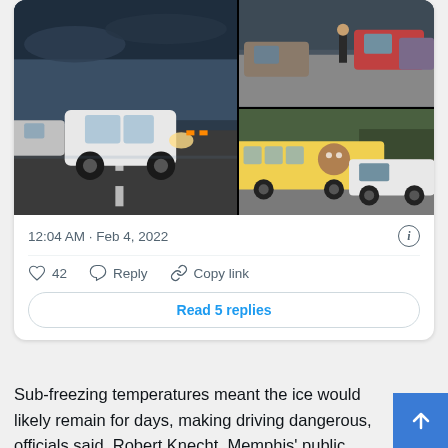[Figure (photo): Three-photo collage of car accidents on icy roads. Left: white car on wet/icy road with traffic in background at dusk. Top right: cars and a person standing on road. Bottom right: a city bus with graphics alongside a white SUV police vehicle.]
12:04 AM · Feb 4, 2022
42   Reply   Copy link
Read 5 replies
Sub-freezing temperatures meant the ice would likely remain for days, making driving dangerous, officials said. Robert Knecht, Memphis' public works director, said Thursday evening that there were 225 downed trees on city streets and that crews were working 16-hour shifts to